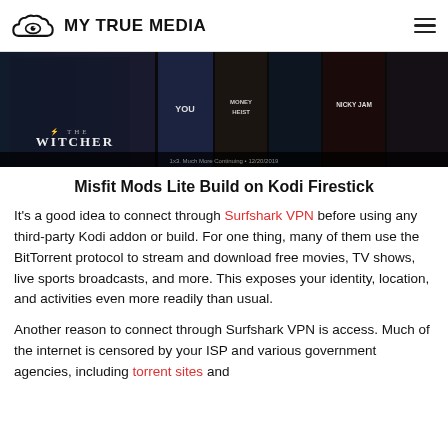MY TRUE MEDIA
[Figure (screenshot): Netflix/streaming interface showing The Witcher and other movie/show thumbnails in a dark horizontal banner]
Misfit Mods Lite Build on Kodi Firestick
It's a good idea to connect through Surfshark VPN before using any third-party Kodi addon or build. For one thing, many of them use the BitTorrent protocol to stream and download free movies, TV shows, live sports broadcasts, and more. This exposes your identity, location, and activities even more readily than usual.
Another reason to connect through Surfshark VPN is access. Much of the internet is censored by your ISP and various government agencies, including torrent sites and